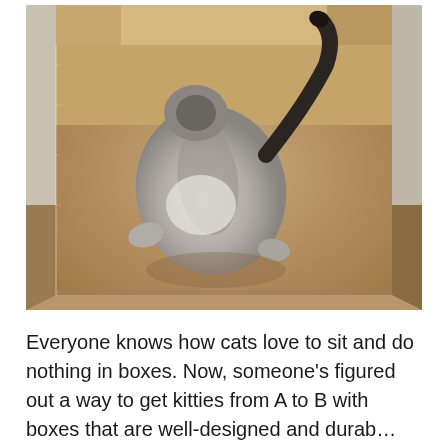[Figure (photo): A cat viewed from above, sitting inside an open cardboard box. The cat appears to be a dark-pointed cat (possibly Siamese or similar) with a black tail raised upward, photographed from a bird's-eye perspective. The box is brown cardboard and sits on what appears to be a wooden floor.]
Everyone knows how cats love to sit and do nothing in boxes. Now, someone's figured out a way to get kitties from A to B with boxes that are well-designed and durable.